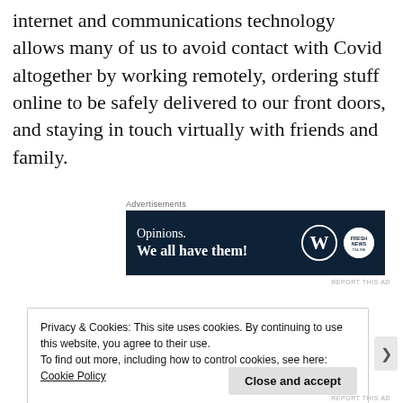internet and communications technology allows many of us to avoid contact with Covid altogether by working remotely, ordering stuff online to be safely delivered to our front doors, and staying in touch virtually with friends and family.
[Figure (screenshot): Advertisement banner with dark navy background showing 'Opinions. We all have them!' text with WordPress logo and a circular news logo on the right.]
Privacy & Cookies: This site uses cookies. By continuing to use this website, you agree to their use.
To find out more, including how to control cookies, see here: Cookie Policy
Close and accept